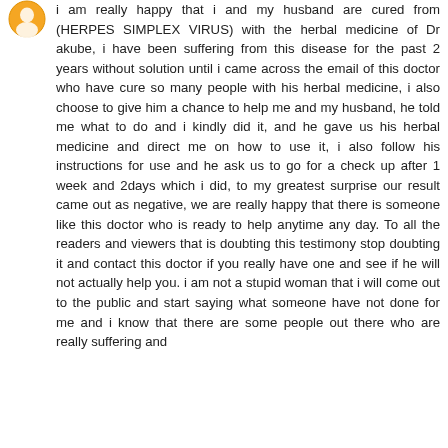[Figure (illustration): Orange circular avatar icon partially visible at top left]
i am really happy that i and my husband are cured from (HERPES SIMPLEX VIRUS) with the herbal medicine of Dr akube, i have been suffering from this disease for the past 2 years without solution until i came across the email of this doctor who have cure so many people with his herbal medicine, i also choose to give him a chance to help me and my husband, he told me what to do and i kindly did it, and he gave us his herbal medicine and direct me on how to use it, i also follow his instructions for use and he ask us to go for a check up after 1 week and 2days which i did, to my greatest surprise our result came out as negative, we are really happy that there is someone like this doctor who is ready to help anytime any day. To all the readers and viewers that is doubting this testimony stop doubting it and contact this doctor if you really have one and see if he will not actually help you. i am not a stupid woman that i will come out to the public and start saying what someone have not done for me and i know that there are some people out there who are really suffering and